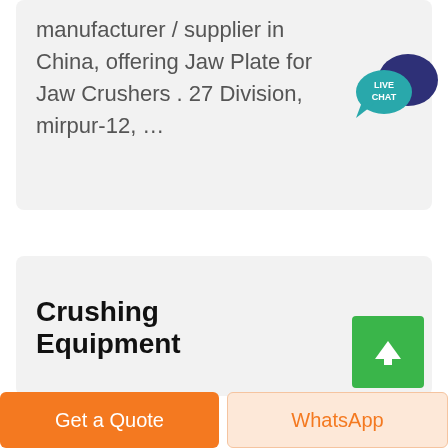manufacturer / supplier in China, offering Jaw Plate for Jaw Crushers . 27 Division, mirpur-12, …
[Figure (illustration): Live Chat speech bubble icon in teal/dark blue colors with 'LIVE CHAT' text]
Crushing Equipment
[Figure (illustration): Green square button with white upward arrow (scroll to top button)]
Get a Quote
WhatsApp